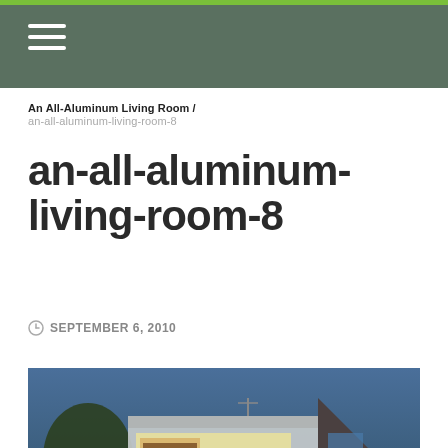An All-Aluminum Living Room / an-all-aluminum-living-room-8
an-all-aluminum-living-room-8
SEPTEMBER 6, 2010
[Figure (photo): Exterior photograph of a modern aluminum-clad room addition/extension to a house, photographed at dusk/evening with interior lights on, showing bookshelves and living area inside through large glass windows, with trees and blue sky visible.]